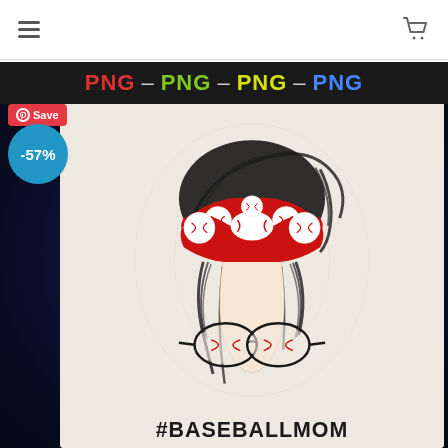Navigation header with hamburger menu and cart icon
[Figure (illustration): Product listing screenshot showing a 'Baseball Mom' PNG digital product. The image shows a woman's messy bun hairstyle illustration with baseball-themed bandana/bow and baseball aviator sunglasses, with text '#BASEBALLMOM' at the bottom. There is a colorful PNG banner at the top in red, green, yellow-green, and blue. A red Pinterest Save button and a blue -57% discount badge are overlaid on the image.]